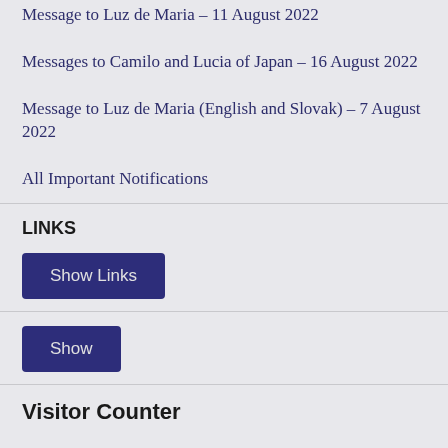Message to Luz de Maria – 11 August 2022
Messages to Camilo and Lucia of Japan – 16 August 2022
Message to Luz de Maria (English and Slovak) – 7 August 2022
All Important Notifications
LINKS
Show Links
Show
Visitor Counter